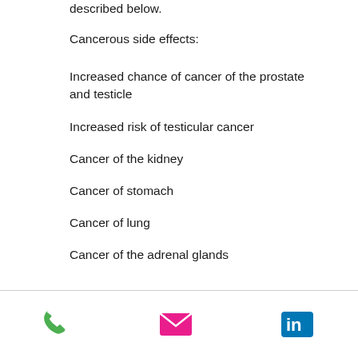described below.
Cancerous side effects:
Increased chance of cancer of the prostate and testicle
Increased risk of testicular cancer
Cancer of the kidney
Cancer of stomach
Cancer of lung
Cancer of the adrenal glands
[Figure (other): Footer bar with phone icon (green), email icon (pink/magenta), and LinkedIn icon (blue)]